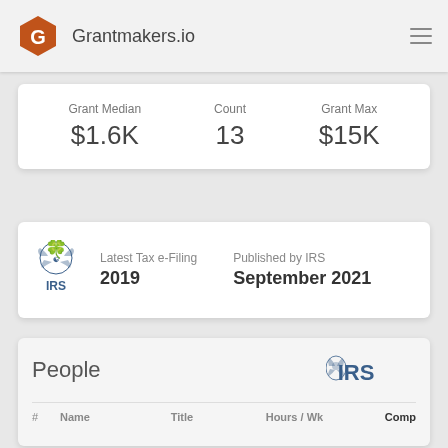Grantmakers.io
| Grant Median | Count | Grant Max |
| --- | --- | --- |
| $1.6K | 13 | $15K |
Latest Tax e-Filing: 2019 | Published by IRS: September 2021
People
| # | Name | Title | Hours / Wk | Comp |
| --- | --- | --- | --- | --- |